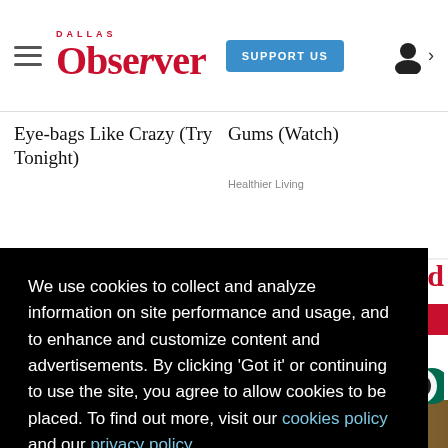Dallas Observer | SUPPORT US
Eye-bags Like Crazy (Try Tonight)
Gums (Watch)
Healthier Living
We use cookies to collect and analyze information on site performance and usage, and to enhance and customize content and advertisements. By clicking 'Got it' or continuing to use the site, you agree to allow cookies to be placed. To find out more, visit our cookies policy and our privacy policy.
Got it!